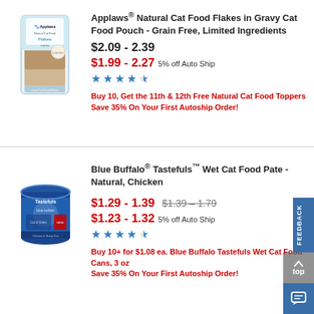[Figure (photo): Applaws Natural Cat Food Flakes in Gravy pouch product photo]
Applaws® Natural Cat Food Flakes in Gravy Cat Food Pouch - Grain Free, Limited Ingredients
$2.09 - 2.39
$1.99 - 2.27 5% off Auto Ship
[Figure (other): 4.5 star rating — 5 blue stars, one half star]
Buy 10, Get the 11th & 12th Free Natural Cat Food Toppers
Save 35% On Your First Autoship Order!
[Figure (photo): Blue Buffalo Tastefuls wet cat food can product photo]
Blue Buffalo® Tastefuls™ Wet Cat Food Pate - Natural, Chicken
$1.29 - 1.39  $1.39 - 1.79
$1.23 - 1.32 5% off Auto Ship
[Figure (other): 4 star rating — 4.5 blue stars]
Buy 10+ for $1.08 ea. Blue Buffalo Tastefuls Wet Cat Food Cans, 3 oz
Save 35% On Your First Autoship Order!